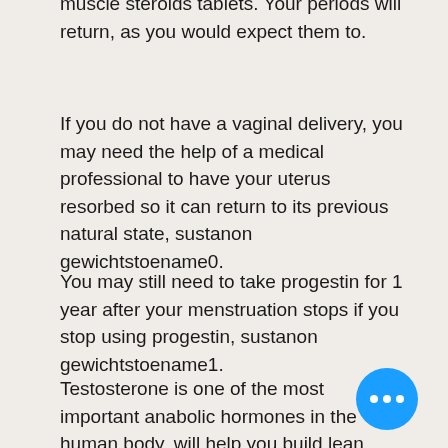muscle steroids tablets. Your periods will return, as you would expect them to.
If you do not have a vaginal delivery, you may need the help of a medical professional to have your uterus resorbed so it can return to its previous natural state, sustanon gewichtstoename0.
You may still need to take progestin for 1 year after your menstruation stops if you stop using progestin, sustanon gewichtstoename1.
Testosterone is one of the most important anabolic hormones in the human body, will help you build lean muscle mass and burn body fat. Testosterone can also lower a